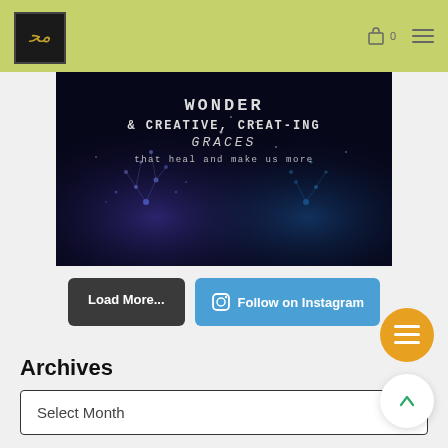[Figure (logo): Decorative Arabic calligraphy logo in gold on dark background]
[Figure (photo): Dark night scene with glowing blue light tree/splash sculptures and overlay text: WONDER & CREATIVE, CREAT-ING GRACES that heal and make us more]
Load More...
Follow on Instagram
Archives
Select Month